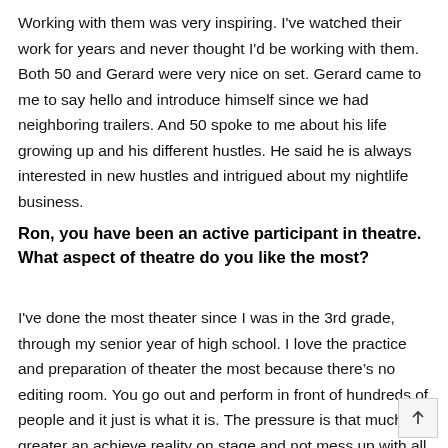Working with them was very inspiring. I've watched their work for years and never thought I'd be working with them. Both 50 and Gerard were very nice on set. Gerard came to me to say hello and introduce himself since we had neighboring trailers. And 50 spoke to me about his life growing up and his different hustles. He said he is always interested in new hustles and intrigued about my nightlife business.
Ron, you have been an active participant in theatre. What aspect of theatre do you like the most?
I've done the most theater since I was in the 3rd grade, through my senior year of high school. I love the practice and preparation of theater the most because there's no editing room. You go out and perform in front of hundreds of people and it just is what it is. The pressure is that much greater and achieve reality on stage and not mess up with all of those